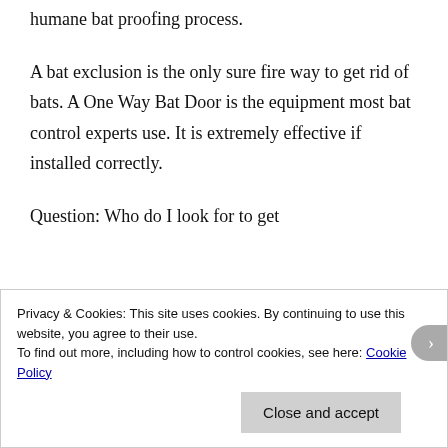humane bat proofing process.
A bat exclusion is the only sure fire way to get rid of bats. A One Way Bat Door is the equipment most bat control experts use. It is extremely effective if installed correctly.
Question: Who do I look for to get
Privacy & Cookies: This site uses cookies. By continuing to use this website, you agree to their use.
To find out more, including how to control cookies, see here: Cookie Policy
Close and accept